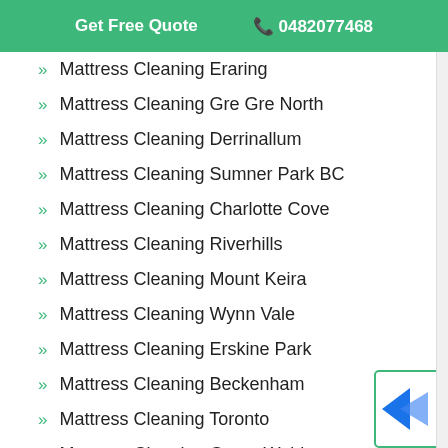Get Free Quote   📞 0482077468
Mattress Cleaning Eraring
Mattress Cleaning Gre Gre North
Mattress Cleaning Derrinallum
Mattress Cleaning Sumner Park BC
Mattress Cleaning Charlotte Cove
Mattress Cleaning Riverhills
Mattress Cleaning Mount Keira
Mattress Cleaning Wynn Vale
Mattress Cleaning Erskine Park
Mattress Cleaning Beckenham
Mattress Cleaning Toronto
Mattress Cleaning Grose Wold